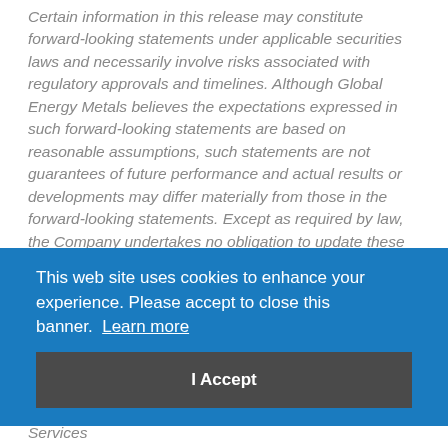Certain information in this release may constitute forward-looking statements under applicable securities laws and necessarily involve risks associated with regulatory approvals and timelines. Although Global Energy Metals believes the expectations expressed in such forward-looking statements are based on reasonable assumptions, such statements are not guarantees of future performance and actual results or developments may differ materially from those in the forward-looking statements. Except as required by law, the Company undertakes no obligation to update these forward-...
[Figure (other): Cookie consent banner overlay with blue background reading 'This web site uses cookies to enhance your experience. Please accept to close this banner. Learn more' and a dark 'I Accept' button.]
Neither TSX Venture Exchange nor its Regulation Services